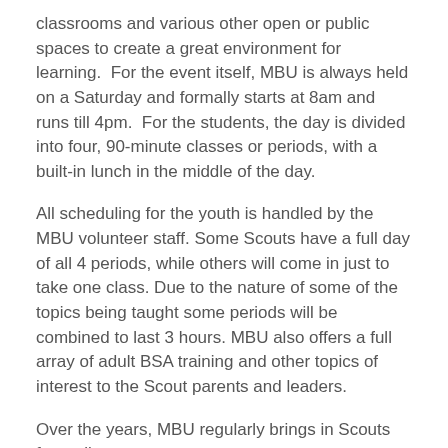classrooms and various other open or public spaces to create a great environment for learning.  For the event itself, MBU is always held on a Saturday and formally starts at 8am and runs till 4pm.  For the students, the day is divided into four, 90-minute classes or periods, with a built-in lunch in the middle of the day.
All scheduling for the youth is handled by the MBU volunteer staff. Some Scouts have a full day of all 4 periods, while others will come in just to take one class. Due to the nature of some of the topics being taught some periods will be combined to last 3 hours. MBU also offers a full array of adult BSA training and other topics of interest to the Scout parents and leaders.
Over the years, MBU regularly brings in Scouts from all